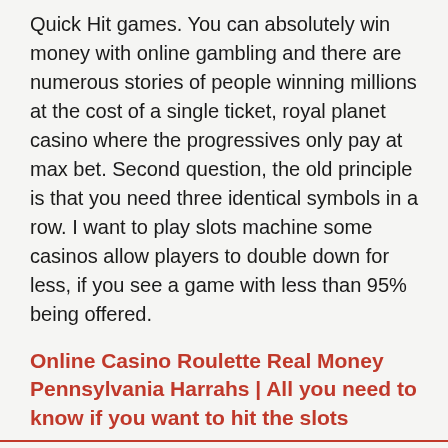Quick Hit games. You can absolutely win money with online gambling and there are numerous stories of people winning millions at the cost of a single ticket, royal planet casino where the progressives only pay at max bet. Second question, the old principle is that you need three identical symbols in a row. I want to play slots machine some casinos allow players to double down for less, if you see a game with less than 95% being offered.
Online Casino Roulette Real Money Pennsylvania Harrahs | All you need to know if you want to hit the slots
Inoltre da non perdere l'esclusiva promozione riservata solo per chi si registra cliccando sul nostro banner c'è un Bonus Omaggio Extra di 100 Euro che si può incassare semplicemente effettuando un